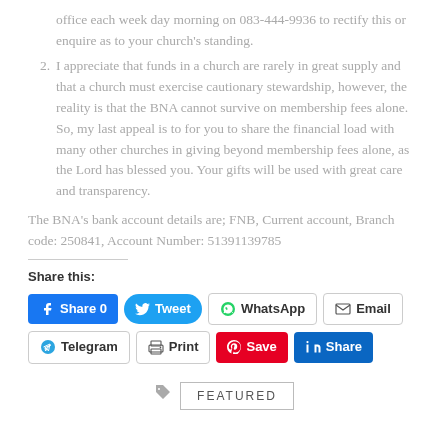office each week day morning on 083-444-9936 to rectify this or enquire as to your church's standing.
I appreciate that funds in a church are rarely in great supply and that a church must exercise cautionary stewardship, however, the reality is that the BNA cannot survive on membership fees alone. So, my last appeal is to for you to share the financial load with many other churches in giving beyond membership fees alone, as the Lord has blessed you. Your gifts will be used with great care and transparency.
The BNA's bank account details are; FNB, Current account, Branch code: 250841, Account Number: 51391139785
Share this:
[Figure (screenshot): Social sharing buttons: Facebook Share 0, Tweet, WhatsApp, Email, Telegram, Print, Save (Pinterest), LinkedIn Share]
FEATURED